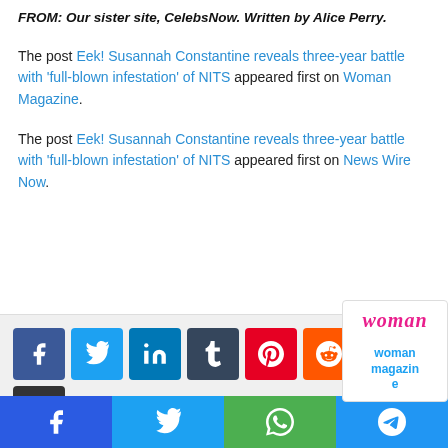FROM: Our sister site, CelebsNow. Written by Alice Perry.
The post Eek! Susannah Constantine reveals three-year battle with 'full-blown infestation' of NITS appeared first on Woman Magazine.
The post Eek! Susannah Constantine reveals three-year battle with 'full-blown infestation' of NITS appeared first on News Wire Now.
[Figure (other): Social share buttons: Facebook, Twitter, LinkedIn, Tumblr, Pinterest, Reddit, VK, Print. Woman Magazine card with logo and label.]
[Figure (other): Bottom share bar with Facebook, Twitter, WhatsApp, Telegram icons.]